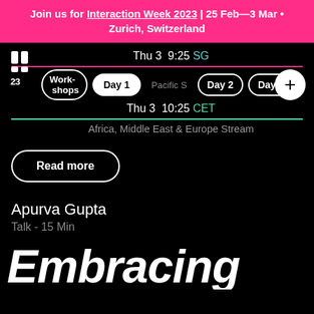Join us for Interaction Week 2023 | 25 Feb—3 Mar • Zurich, Switzerland
[Figure (logo): IxDA 2023 logo in white on black]
Thu 3  9:25  SG
Work-shops  Day 1  Pacific S  Day 2  Day 3
Thu 3  10:25  CET
Africa, Middle East & Europe Stream
Read more
Apurva Gupta
Talk - 15 Min
Embracing